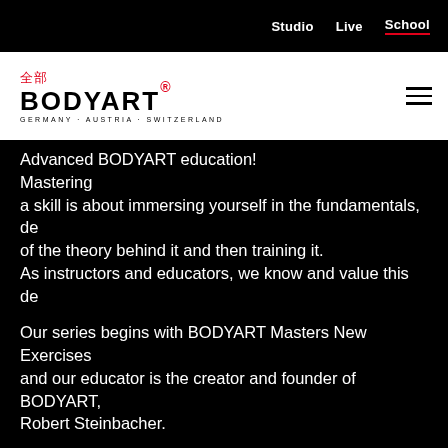Studio   Live   School
[Figure (logo): BODYART logo with Chinese characters 全部 and tagline GERMANY · AUSTRIA · SWITZERLAND, with red dot superscript]
Advanced BODYART education!
Mastering
a skill is about immersing yourself in the fundamentals, de
of the theory behind it and then training it.
As instructors and educators, we know and value this de
Our series begins with BODYART Masters New Exercises
and our educator is the creator and founder of BODYART,
Robert Steinbacher.
We will
explore one of the fundamentals of the BODYART
Training method - the BODYART Clock. We will dive
deeper into the reasons why it is such
a valuable blueprint.